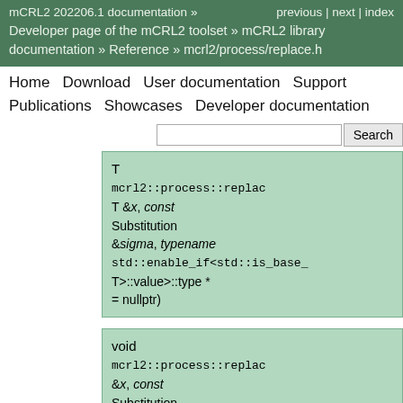mCRL2 202206.1 documentation »   previous | next | index
Developer page of the mCRL2 toolset » mCRL2 library documentation » Reference » mcrl2/process/replace.h
Home   Download   User documentation   Support   Publications   Showcases   Developer documentation
[Figure (screenshot): Search input box with Search button]
T mcrl2::process::replac... T &x, const Substitution &sigma, typename std::enable_if<std::is_base_ T>::value>::type * = nullptr)
void mcrl2::process::replac... &x, const Substitution &sigma, bool